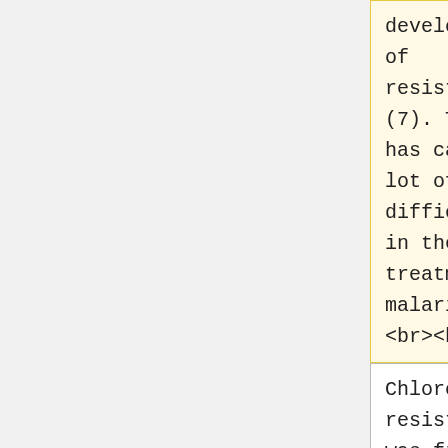development of resistance (7). This has caused a lot of difficulties in the treatment of malaria (5).
<br><br>
development of resistance (7). This has caused a lot of difficulties in the treatment of malaria (5).
<br><br>
Chloroquine resistance was first reported in both South America and South East Asia in late 1950s. Since then chloroquine...
Chloroquine resistance was first reported in both South America and South East Asia in late 1950s. Since then chloroquine...